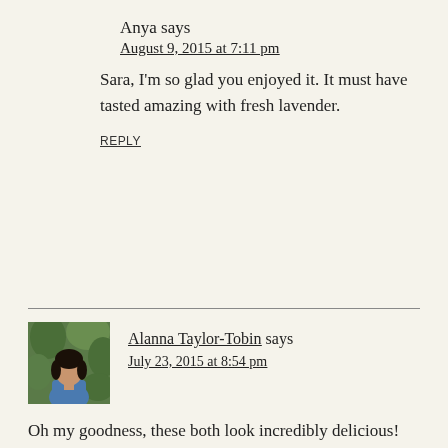Anya says
August 9, 2015 at 7:11 pm
Sara, I'm so glad you enjoyed it. It must have tasted amazing with fresh lavender.
REPLY
[Figure (photo): Avatar photo of Alanna Taylor-Tobin, a woman with dark hair in a blue shirt against a green leafy background]
Alanna Taylor-Tobin says
July 23, 2015 at 8:54 pm
Oh my goodness, these both look incredibly delicious!